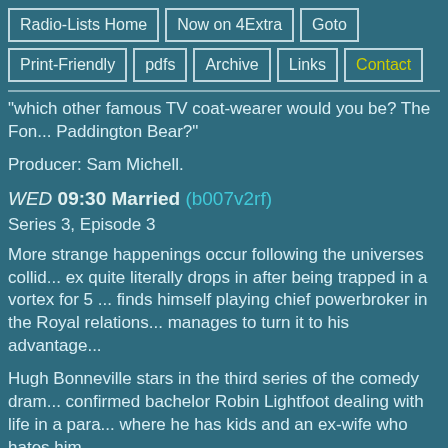Radio-Lists Home | Now on 4Extra | Goto | Print-Friendly | pdfs | Archive | Links | Contact
"which other famous TV coat-wearer would you be? The Fon... Paddington Bear?"
Producer: Sam Michell.
WED 09:30 Married (b007v2rf)
Series 3, Episode 3
More strange happenings occur following the universes collid... ex quite literally drops in after being trapped in a vortex for 5 ... finds himself playing chief powerbroker in the Royal relations... manages to turn it to his advantage...
Hugh Bonneville stars in the third series of the comedy dram... confirmed bachelor Robin Lightfoot dealing with life in a para... where he has kids and an ex-wife who hates him.
With Josie Lawrence as Lesley, Stephen Frost as Dirk, Julian...